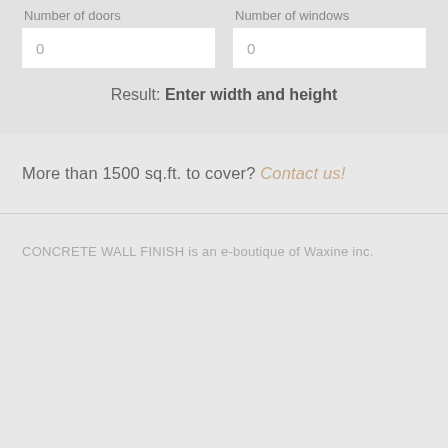Number of doors
Number of windows
0
0
Result: Enter width and height
More than 1500 sq.ft. to cover? Contact us!
CONCRETE WALL FINISH is an e-boutique of Waxine inc.